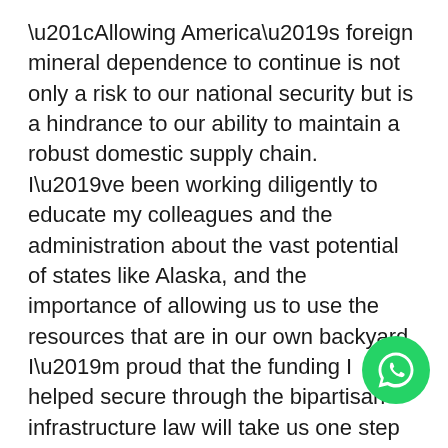“Allowing America’s foreign mineral dependence to continue is not only a risk to our national security but is a hindrance to our ability to maintain a robust domestic supply chain. I’ve been working diligently to educate my colleagues and the administration about the vast potential of states like Alaska, and the importance of allowing us to use the resources that are in our own backyard. I’m proud that the funding I helped secure through the bipartisan infrastructure law will take us one step closer to doing just that,” said Senator Murkowski. “By improving the research and data surrounding critical minerals, we will be able to better pinpoint what locations in the U.S. hold the greatest opportunities for responsible resource production. We will also further improve our ability to harvest those resources in the most…
[Figure (other): WhatsApp floating action button (green circle with white phone/chat icon)]